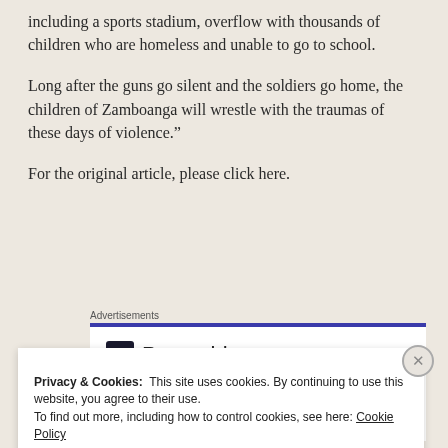including a sports stadium, overflow with thousands of children who are homeless and unable to go to school.
Long after the guns go silent and the soldiers go home, the children of Zamboanga will wrestle with the traumas of these days of violence."
For the original article, please click here.
[Figure (screenshot): Pressable advertisement banner with blue top border, showing Pressable logo and dots]
Privacy & Cookies: This site uses cookies. By continuing to use this website, you agree to their use. To find out more, including how to control cookies, see here: Cookie Policy
Close and accept